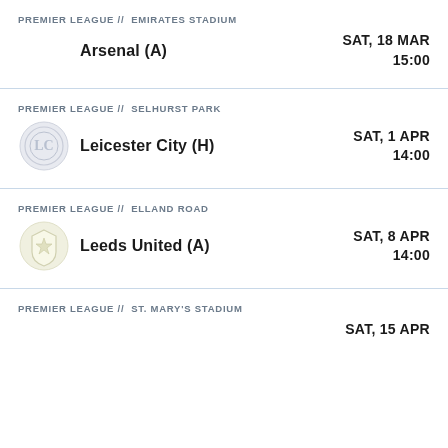PREMIER LEAGUE // EMIRATES STADIUM
Arsenal (A)
SAT, 18 MAR
15:00
PREMIER LEAGUE // SELHURST PARK
Leicester City (H)
SAT, 1 APR
14:00
PREMIER LEAGUE // ELLAND ROAD
Leeds United (A)
SAT, 8 APR
14:00
PREMIER LEAGUE // ST. MARY'S STADIUM
SAT, 15 APR